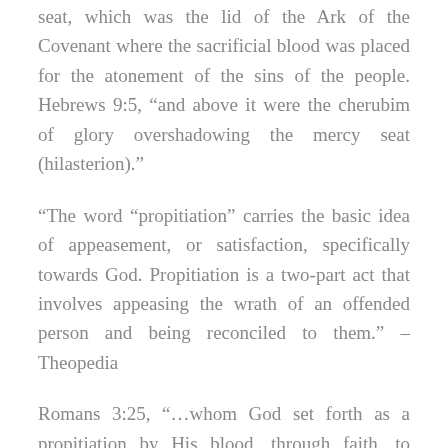seat, which was the lid of the Ark of the Covenant where the sacrificial blood was placed for the atonement of the sins of the people. Hebrews 9:5, “and above it were the cherubim of glory overshadowing the mercy seat (hilasterion).”
“The word “propitiation” carries the basic idea of appeasement, or satisfaction, specifically towards God. Propitiation is a two-part act that involves appeasing the wrath of an offended person and being reconciled to them.” –Theopedia
Romans 3:25, “…whom God set forth as a propitiation by His blood, through faith, to demonstrate His righteousness, because at the forbearance of God he had